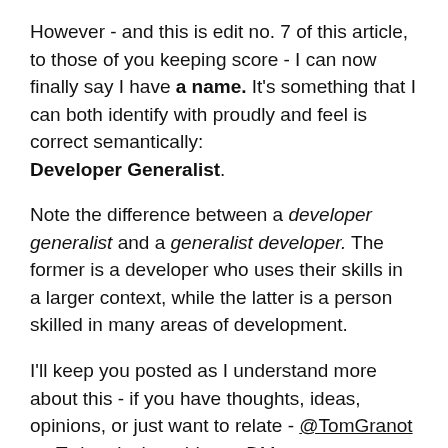However - and this is edit no. 7 of this article, to those of you keeping score - I can now finally say I have a name. It's something that I can both identify with proudly and feel is correct semantically: Developer Generalist.
Note the difference between a developer generalist and a generalist developer. The former is a developer who uses their skills in a larger context, while the latter is a person skilled in many areas of development.
I'll keep you posted as I understand more about this - if you have thoughts, ideas, opinions, or just want to relate - @TomGranot on Twitter is the address, DMs are open.